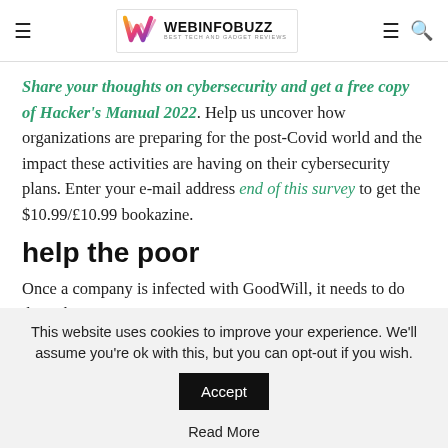WEBINFOBUZZ — BEST TECH AND GADGET REVIEWS
Share your thoughts on cybersecurity and get a free copy of Hacker's Manual 2022. Help us uncover how organizations are preparing for the post-Covid world and the impact these activities are having on their cybersecurity plans. Enter your e-mail address end of this survey to get the $10.99/£10.99 bookazine.
help the poor
Once a company is infected with GoodWill, it needs to do three things:
This website uses cookies to improve your experience. We'll assume you're ok with this, but you can opt-out if you wish. Accept Read More